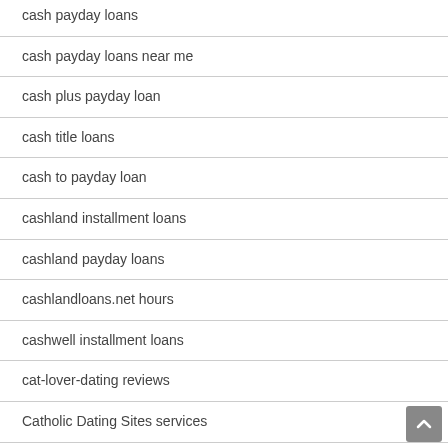cash payday loans
cash payday loans near me
cash plus payday loan
cash title loans
cash to payday loan
cashland installment loans
cashland payday loans
cashlandloans.net hours
cashwell installment loans
cat-lover-dating reviews
Catholic Dating Sites services
Catholic Singles visitors
catholic singles web